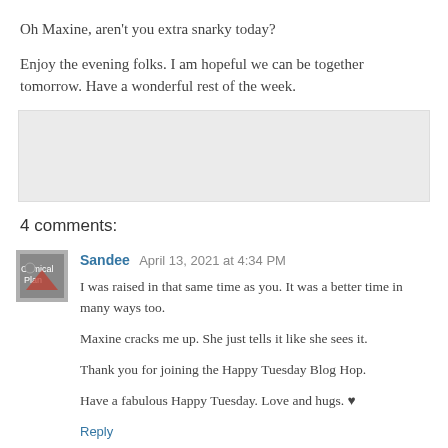Oh Maxine, aren't you extra snarky today?
Enjoy the evening folks. I am hopeful we can be together tomorrow. Have a wonderful rest of the week.
[Figure (other): Gray placeholder image area]
4 comments:
Sandee  April 13, 2021 at 4:34 PM
I was raised in that same time as you. It was a better time in many ways too.

Maxine cracks me up. She just tells it like she sees it.

Thank you for joining the Happy Tuesday Blog Hop.

Have a fabulous Happy Tuesday. Love and hugs. ♥
Reply